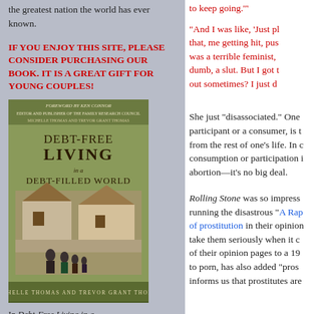the greatest nation the world has ever known.
IF YOU ENJOY THIS SITE, PLEASE CONSIDER PURCHASING OUR BOOK. IT IS A GREAT GIFT FOR YOUNG COUPLES!
[Figure (photo): Book cover of 'Debt-Free Living in a Debt-Filled World' with foreword by Ken Connor, by Michelle Thomas and Trevor Grant Thomas]
In Debt-Free Living in a Debt-Filled World, Trevor and Michelle will tell you candidly how they paid off their debt, built their home without a mortgage, and
to keep going.'"
"And I was like, 'Just pl... that, me getting hit, pus... was a terrible feminist, ... dumb, a slut. But I got t... out sometimes? I just d...
She just “disassociated.” One... participant or a consumer, is t... from the rest of one’s life. In c... consumption or participation i... abortion—it’s no big deal.
Rolling Stone was so impress... running the disastrous “A Rap... of prostitution in their opinion... take them seriously when it c... of their opinion pages to a 19... to porn, has also added “pros... informs us that prostitutes are...